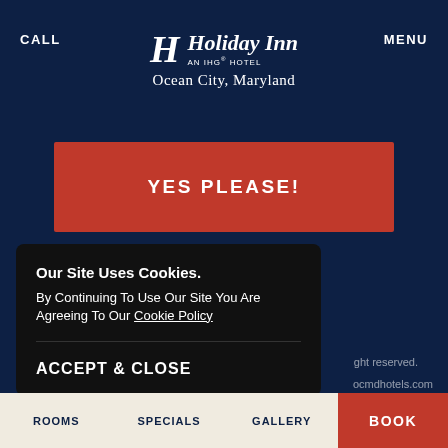CALL  |  Holiday Inn AN IHG HOTEL  Ocean City, Maryland  |  MENU
[Figure (other): YES PLEASE! red call-to-action button on dark navy background]
Our Site Uses Cookies. By Continuing To Use Our Site You Are Agreeing To Our Cookie Policy
ACCEPT & CLOSE
ROOMS  SPECIALS  GALLERY  BOOK